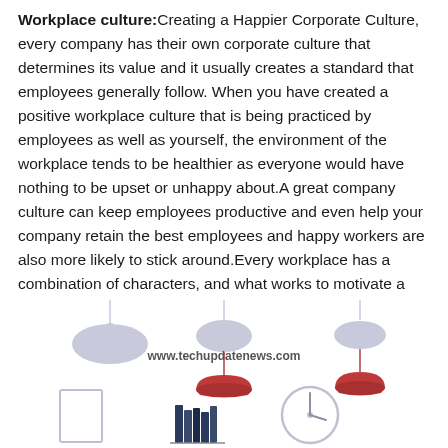Workplace culture: Creating a Happier Corporate Culture, every company has their own corporate culture that determines its value and it usually creates a standard that employees generally follow. When you have created a positive workplace culture that is being practiced by employees as well as yourself, the environment of the workplace tends to be healthier as everyone would have nothing to be upset or unhappy about.A great company culture can keep employees productive and even help your company retain the best employees and happy workers are also more likely to stick around.Every workplace has a combination of characters, and what works to motivate a particular employee, may not necessarily help others. Get to know your employees and find out whether a hands-on approach or more independence will help them.
[Figure (illustration): Office illustration showing pendant lamps, bookshelves, a clock, and office items in a flat design style with muted blue/red colors. Includes watermark text: www.techupdatenews.com]